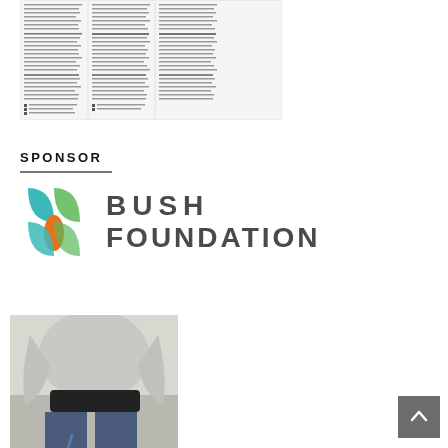[Figure (screenshot): Thumbnail of a newspaper/magazine article page with multiple columns of small text, section headers, and a small table or list at the bottom]
SPONSOR
[Figure (logo): Bush Foundation logo: stylized 'b' icon in teal, green, and orange colors, with 'BUSH FOUNDATION' text in bold gray letters]
[Figure (photo): Close-up photo of a person wearing a gray knit sweater and jeans, with a black bag/pouch at the waist, standing near a stone or concrete surface]